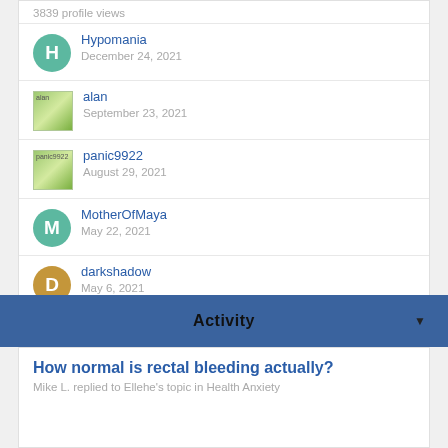3839 profile views
Hypomania · December 24, 2021
alan · September 23, 2021
panic9922 · August 29, 2021
MotherOfMaya · May 22, 2021
darkshadow · May 6, 2021
Activity
How normal is rectal bleeding actually?
Mike L. replied to Ellehe's topic in Health Anxiety